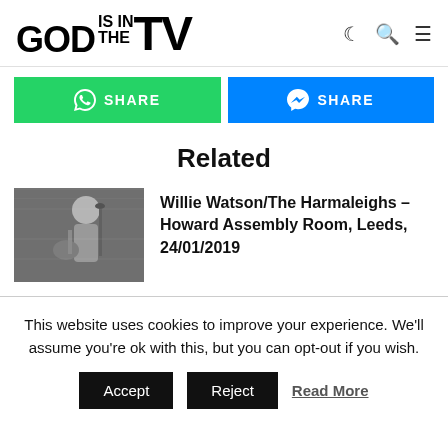GOD IS IN THE TV
SHARE (WhatsApp)
SHARE (Messenger)
Related
[Figure (photo): Black and white photo of a musician playing guitar on stage]
Willie Watson/The Harmaleighs – Howard Assembly Room, Leeds, 24/01/2019
This website uses cookies to improve your experience. We'll assume you're ok with this, but you can opt-out if you wish.
Accept   Reject   Read More